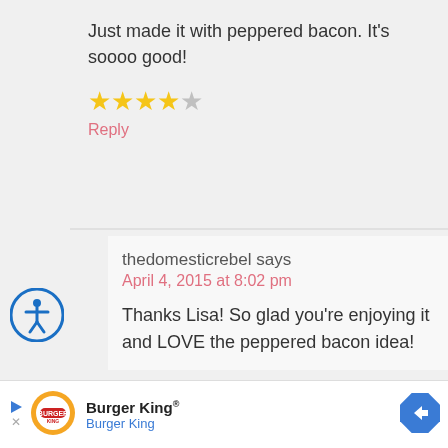Just made it with peppered bacon. It's soooo good!
[Figure (other): 4 filled gold stars and 1 empty/grey star rating]
Reply
thedomesticrebel says
April 4, 2015 at 8:02 pm
Thanks Lisa! So glad you're enjoying it and LOVE the peppered bacon idea!
[Figure (logo): Burger King advertisement banner with logo, name, and navigation arrow icon]